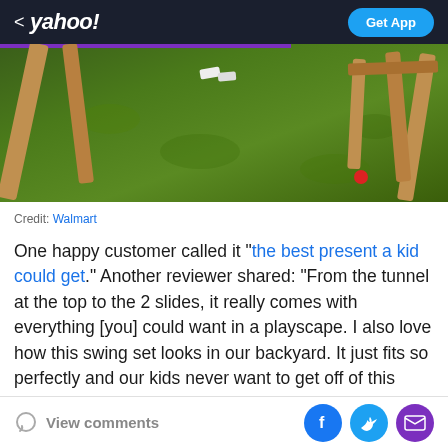< yahoo! | Get App
[Figure (photo): Outdoor photo of a wooden swing set on green grass, with a red ball visible on the grass to the right and what appears to be sneakers on the grass in the background. A purple stripe is visible at the top of a partially visible panel on the left side.]
Credit: Walmart
One happy customer called it “the best present a kid could get.” Another reviewer shared: “From the tunnel at the top to the 2 slides, it really comes with everything [you] could want in a playscape. I also love how this swing set looks in our backyard. It just fits so perfectly and our kids never want to get off of this thing! Stop
View comments